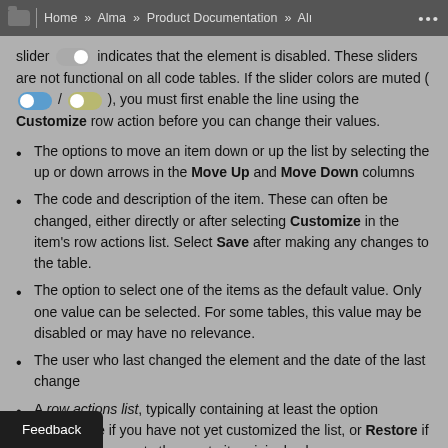Home » Alma » Product Documentation » Al…
slider [toggle off] indicates that the element is disabled. These sliders are not functional on all code tables. If the slider colors are muted ( [toggle blue] / [toggle tan] ), you must first enable the line using the Customize row action before you can change their values.
The options to move an item down or up the list by selecting the up or down arrows in the Move Up and Move Down columns
The code and description of the item. These can often be changed, either directly or after selecting Customize in the item's row actions list. Select Save after making any changes to the table.
The option to select one of the items as the default value. Only one value can be selected. For some tables, this value may be disabled or may have no relevance.
The user who last changed the element and the date of the last change
A row actions list, typically containing at least the option Customize if you have not yet customized the list, or Restore if … ct Restore resets the row to its original value. … a row action, select Save at the top of the page to …